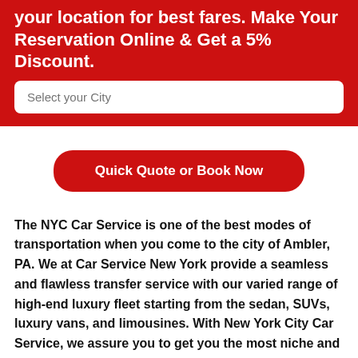your location for best fares. Make Your Reservation Online & Get a 5% Discount.
Select your City
Quick Quote or Book Now
The NYC Car Service is one of the best modes of transportation when you come to the city of Ambler, PA. We at Car Service New York provide a seamless and flawless transfer service with our varied range of high-end luxury fleet starting from the sedan, SUVs, luxury vans, and limousines. With New York City Car Service, we assure you to get you the most niche and enticing lifetime experience throughout